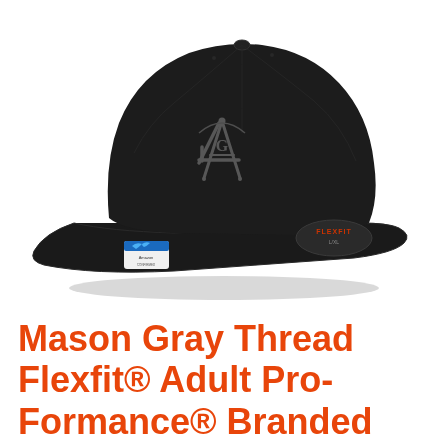[Figure (photo): A black Flexfit baseball cap with a gray embroidered Masonic square and compass symbol on the front panel. The cap is shown from the front-left angle. Visible labels include a Flexfit branded tag on the back and a small white/blue tag on the inside brim.]
Mason Gray Thread Flexfit® Adult Pro-Formance® Branded Hat Black Large/X-Large